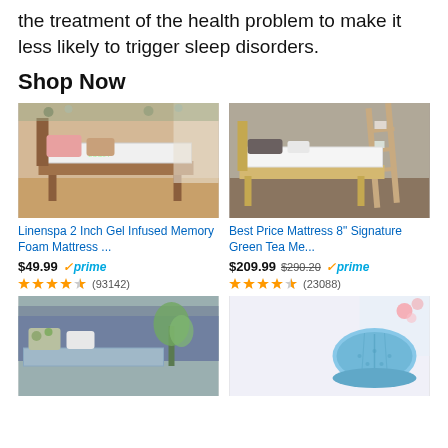the treatment of the health problem to make it less likely to trigger sleep disorders.
Shop Now
[Figure (photo): Linenspa mattress on a wooden bed frame with pink pillows]
Linenspa 2 Inch Gel Infused Memory Foam Mattress ...
$49.99 prime (93142 reviews, ~4.5 stars)
[Figure (photo): Best Price Mattress on a light wood platform bed frame with a ladder shelf]
Best Price Mattress 8" Signature Green Tea Me...
$209.99 $290.20 prime (23088 reviews, ~4.5 stars)
[Figure (photo): Blue-grey mattress topper on a bed with tropical pillow and plant]
[Figure (photo): Rolled blue mattress topper on white background]